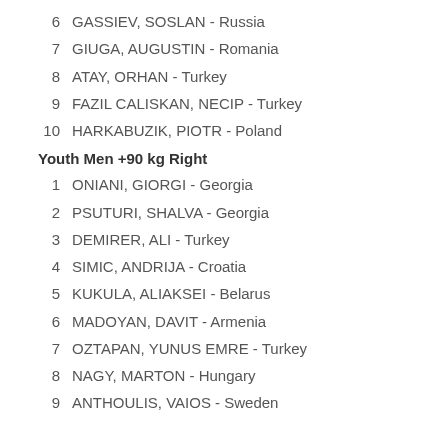6   GASSIEV, SOSLAN - Russia
7   GIUGA, AUGUSTIN - Romania
8   ATAY, ORHAN - Turkey
9   FAZIL CALISKAN, NECIP - Turkey
10  HARKABUZIK, PIOTR - Poland
Youth Men +90 kg Right
1   ONIANI, GIORGI - Georgia
2   PSUTURI, SHALVA - Georgia
3   DEMIRER, ALI - Turkey
4   SIMIC, ANDRIJA - Croatia
5   KUKULA, ALIAKSEI - Belarus
6   MADOYAN, DAVIT - Armenia
7   OZTAPAN, YUNUS EMRE - Turkey
8   NAGY, MARTON - Hungary
9   ANTHOULIS, VAIOS - Sweden